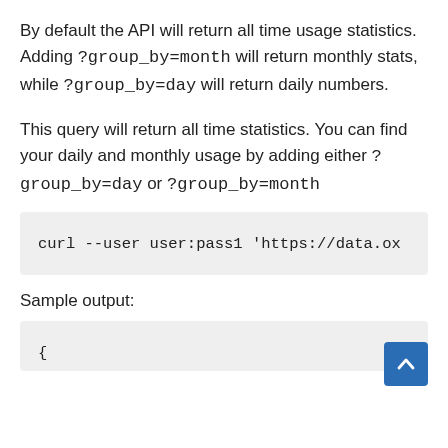By default the API will return all time usage statistics. Adding ?group_by=month will return monthly stats, while ?group_by=day will return daily numbers.
This query will return all time statistics. You can find your daily and monthly usage by adding either ?group_by=day or ?group_by=month
curl --user user:pass1 'https://data.ox
Sample output:
{